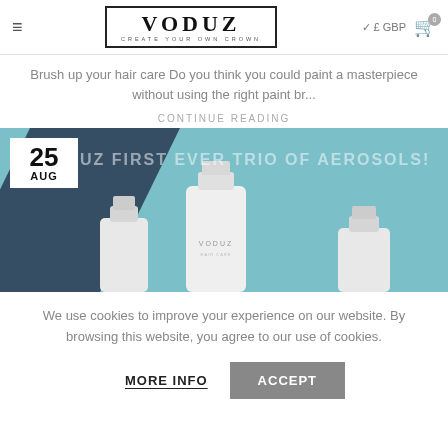VODUZ — CREATE YOUR OWN CROWN | £ GBP | Cart 0
Brush up your hair care Do you think you could paint a masterpiece without using the right paint br...
CONTINUE READING
[Figure (photo): Blog post image dated 25 AUG showing 'UZ FIRST EVER TRIO OF AEROSOLS!' text overlay with three white Voduz aerosol bottles on a teal/aqua background with a dark diagonal stripe]
We use cookies to improve your experience on our website. By browsing this website, you agree to our use of cookies.
MORE INFO   ACCEPT